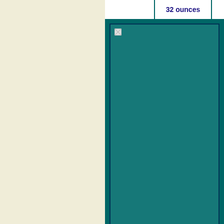|  | 32 ounces |  |
| --- | --- | --- |
|  |
[Figure (photo): A teal/dark green colored image area, likely a product photo placeholder with broken image icon in top-left corner]
| SKIN ISSUES | PAIN ISS... |
| --- | --- |
| Abscesses (Human & Pet) | Achilles T... pair... |
| Abrasions -- Pets | Braxton Pe... |
| Bruises | Bronchial S... |
| Burns | Bursit... |
| Cuts | Exercise... |